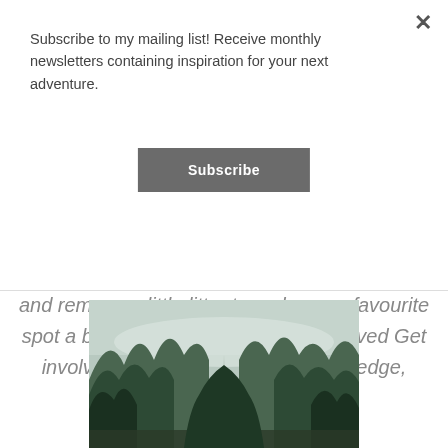Subscribe to my mailing list! Receive monthly newsletters containing inspiration for your next adventure.
Subscribe
and remove a little litter to make your favourite spot a beautiful place again. Get Involved Get involved by taking the Hike it Out Pledge, following …
[Figure (photo): A forest trail winding through dense green trees with a misty sky above]